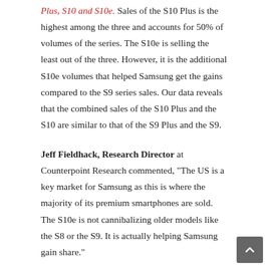Plus, S10 and S10e. Sales of the S10 Plus is the highest among the three and accounts for 50% of volumes of the series. The S10e is selling the least out of the three. However, it is the additional S10e volumes that helped Samsung get the gains compared to the S9 series sales. Our data reveals that the combined sales of the S10 Plus and the S10 are similar to that of the S9 Plus and the S9.
Jeff Fieldhack, Research Director at Counterpoint Research commented, "The US is a key market for Samsung as this is where the majority of its premium smartphones are sold. The S10e is not cannibalizing older models like the S8 or the S9. It is actually helping Samsung gain share."
Monthly US Smartphone Market Share: Feb 2018 to Feb 2019